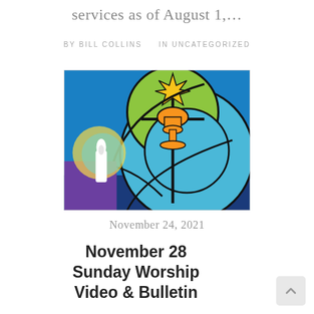services as of August 1,…
BY BILL COLLINS    IN UNCATEGORIZED
[Figure (illustration): Stained glass style illustration of a cross with a star at the top, set against blue and green circular fields, with a purple advent candle in the lower left overlaid as a separate graphic element.]
November 24, 2021
November 28 Sunday Worship Video & Bulletin